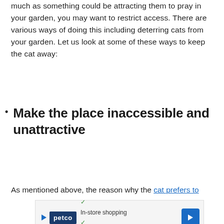much as something could be attracting them to pray in your garden, you may want to restrict access. There are various ways of doing this including deterring cats from your garden. Let us look at some of these ways to keep the cat away:
Make the place inaccessible and unattractive
As mentioned above, the reason why the cat prefers to
[Figure (other): Petco advertisement banner showing in-store shopping and curbside pickup options with logo and navigation arrow]